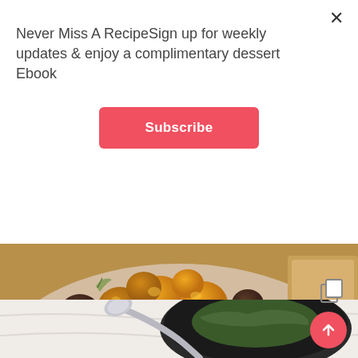Never Miss A RecipeSign up for weekly updates & enjoy a complimentary dessert Ebook
Subscribe
[Figure (photo): Close-up photo of bruschetta or toast topped with whipped white cheese/ricotta and roasted golden cherry tomatoes with herbs on a wooden board]
[Figure (photo): Partial photo of a dark bowl with green herbs/leaves and a silver spoon on a white surface]